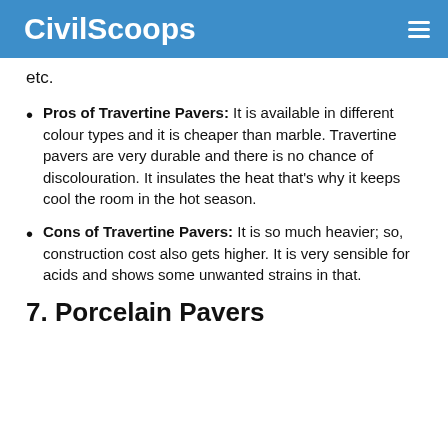CivilScoops
etc.
Pros of Travertine Pavers: It is available in different colour types and it is cheaper than marble. Travertine pavers are very durable and there is no chance of discolouration. It insulates the heat that's why it keeps cool the room in the hot season.
Cons of Travertine Pavers: It is so much heavier; so, construction cost also gets higher. It is very sensible for acids and shows some unwanted strains in that.
7. Porcelain Pavers